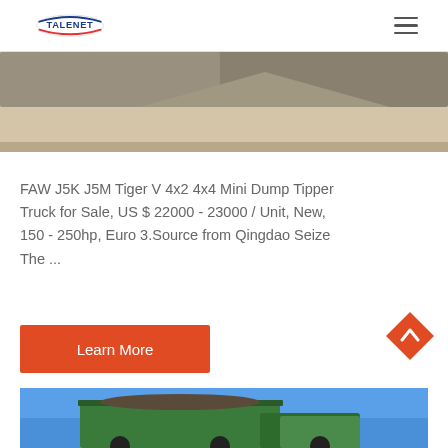TALENET
[Figure (photo): Partial image of a dump tipper truck on a sandy/dirt surface, cropped at top of page]
FAW J5K J5M Tiger V 4x2 4x4 Mini Dump Tipper Truck for Sale, US $ 22000 - 23000 / Unit, New, 150 - 250hp, Euro 3.Source from Qingdao Seize The ...
[Figure (other): Orange-red diamond-shaped back-to-top button with upward chevron arrow]
[Figure (photo): Partial image of a green dump truck against a blue sky background]